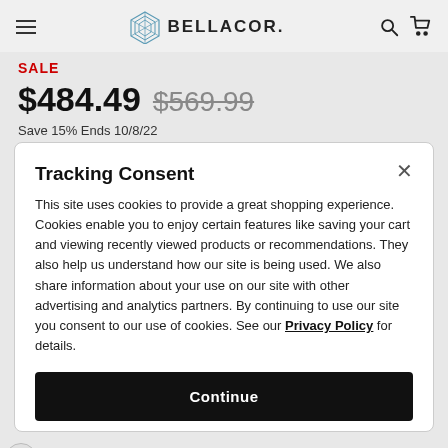BELLACOR.
SALE
$484.49  $569.99
Save 15% Ends 10/8/22
Tracking Consent
This site uses cookies to provide a great shopping experience. Cookies enable you to enjoy certain features like saving your cart and viewing recently viewed products or recommendations. They also help us understand how our site is being used. We also share information about your use on our site with other advertising and analytics partners. By continuing to use our site you consent to our use of cookies. See our Privacy Policy for details.
Continue